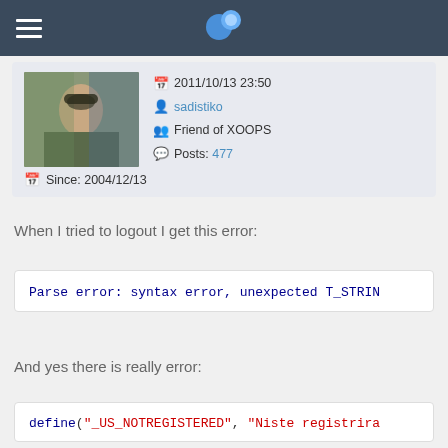XOOPS header navigation
2011/10/13 23:50
sadistiko
Friend of XOOPS
Posts: 477
Since: 2004/12/13
When I tried to logout I get this error:
Parse error: syntax error, unexpected T_STRIN
And yes there is really error:
define("_US_NOTREGISTERED", "Niste registrira